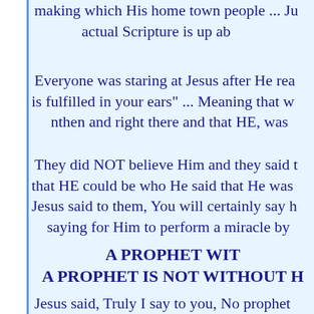making which His home town people ... Ju actual Scripture is up ab
Everyone was staring at Jesus after He rea is fulfilled in your ears" ... Meaning that w nthen and right there and that HE, was
They did NOT believe Him and they said t that HE could be who He said that He was Jesus said to them, You will certainly say h saying for Him to perform a miracle by
A PROPHET WIT A PROPHET IS NOT WITHOUT H
Jesus said, Truly I say to you, No prophet